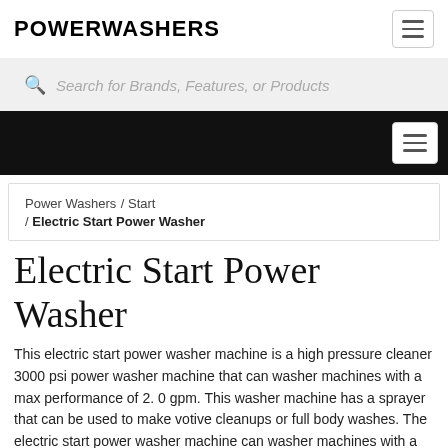POWERWASHERS
Search for Brands, Features, or Products
Power Washers / Start / Electric Start Power Washer
Electric Start Power Washer
This electric start power washer machine is a high pressure cleaner 3000 psi power washer machine that can washer machines with a max performance of 2. 0 gpm. This washer machine has a sprayer that can be used to make votive cleanups or full body washes. The electric start power washer machine can washer machines with a max performance of 2